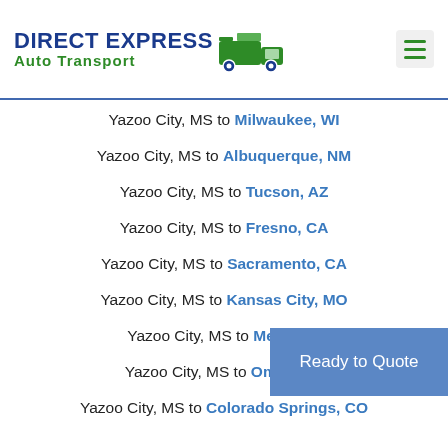DIRECT EXPRESS Auto Transport
Yazoo City, MS to Milwaukee, WI
Yazoo City, MS to Albuquerque, NM
Yazoo City, MS to Tucson, AZ
Yazoo City, MS to Fresno, CA
Yazoo City, MS to Sacramento, CA
Yazoo City, MS to Kansas City, MO
Yazoo City, MS to Mesa, AZ
Yazoo City, MS to Omaha, NE
Yazoo City, MS to Colorado Springs, CO